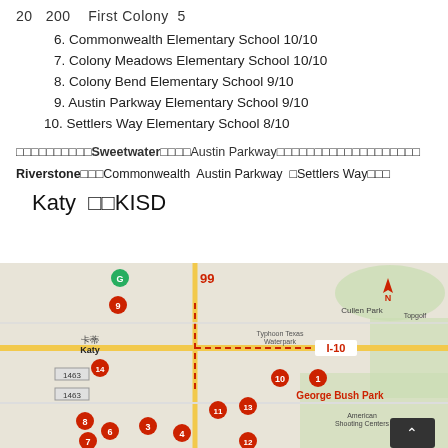20  200  First Colony  5
6. Commonwealth Elementary School 10/10
7. Colony Meadows Elementary School 10/10
8. Colony Bend Elementary School 9/10
9. Austin Parkway Elementary School 9/10
10. Settlers Way Elementary School 8/10
□□□□□□□□□□Sweetwater□□□□Austin Parkway□□□□□□□□□□□□□□□□□□□
Riverstone□□□Commonwealth  Austin Parkway  □Settlers Way□□□
Katy  □□KISD
[Figure (map): Map of Katy area showing numbered school locations, George Bush Park, I-10, route 99, and local landmarks including Typhoon Texas Waterpark]